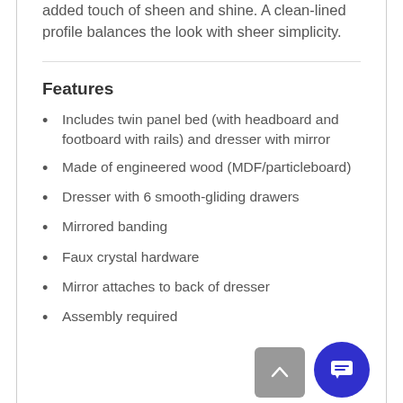added touch of sheen and shine. A clean-lined profile balances the look with sheer simplicity.
Features
Includes twin panel bed (with headboard and footboard with rails) and dresser with mirror
Made of engineered wood (MDF/particleboard)
Dresser with 6 smooth-gliding drawers
Mirrored banding
Faux crystal hardware
Mirror attaches to back of dresser
Assembly required